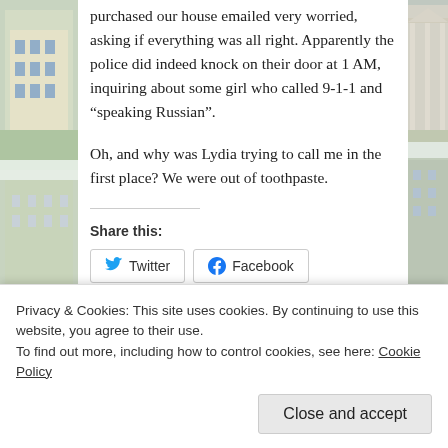[Figure (illustration): Left sidebar showing winter scene with buildings and snow-covered trees]
purchased our house emailed very worried, asking if everything was all right. Apparently the police did indeed knock on their door at 1 AM, inquiring about some girl who called 9-1-1 and “speaking Russian”.
Oh, and why was Lydia trying to call me in the first place? We were out of toothpaste.
Share this:
[Figure (screenshot): Twitter and Facebook share buttons]
Privacy & Cookies: This site uses cookies. By continuing to use this website, you agree to their use.
To find out more, including how to control cookies, see here: Cookie Policy
Close and accept
[Figure (illustration): Right sidebar showing winter scene with columns and snow-covered trees]